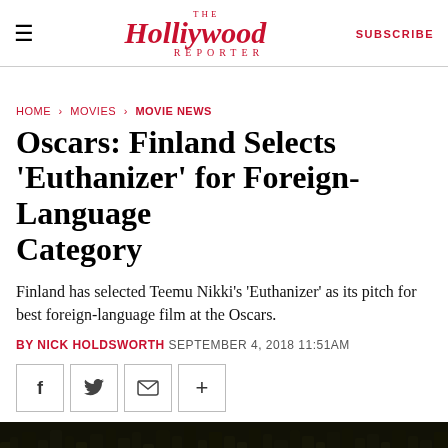The Hollywood Reporter — SUBSCRIBE
HOME > MOVIES > MOVIE NEWS
Oscars: Finland Selects 'Euthanizer' for Foreign-Language Category
Finland has selected Teemu Nikki's 'Euthanizer' as its pitch for best foreign-language film at the Oscars.
BY NICK HOLDSWORTH SEPTEMBER 4, 2018 11:51AM
[Figure (other): Social sharing buttons: Facebook (f), Twitter (bird), Email (envelope), More (+)]
[Figure (photo): Dark forest/trees image strip at the bottom of the article]